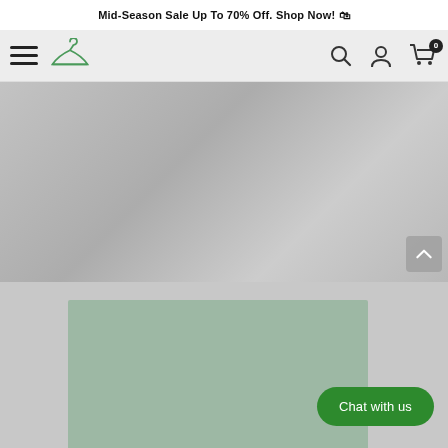Mid-Season Sale Up To 70% Off. Shop Now! 🛍
[Figure (screenshot): E-commerce website navigation bar with hamburger menu, hanger logo, search icon, user icon, and cart icon with badge showing 0]
[Figure (photo): Hero image showing a person working on a laptop, muted/greyed out]
[Figure (other): Green-tinted rectangular content placeholder block]
Chat with us